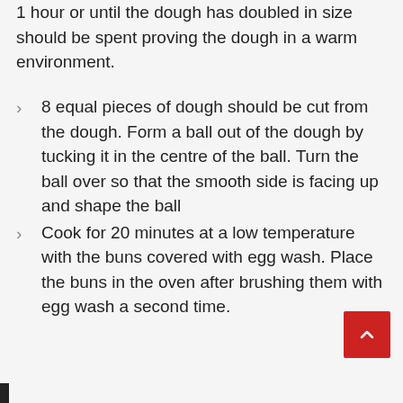1 hour or until the dough has doubled in size should be spent proving the dough in a warm environment.
8 equal pieces of dough should be cut from the dough. Form a ball out of the dough by tucking it in the centre of the ball. Turn the ball over so that the smooth side is facing up and shape the ball
Cook for 20 minutes at a low temperature with the buns covered with egg wash. Place the buns in the oven after brushing them with egg wash a second time.